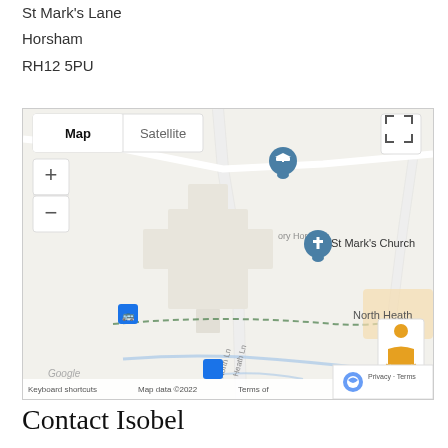St Mark's Lane
Horsham
RH12 5PU
[Figure (map): Google Map showing St Mark's Church in Horsham, North Heath area. Map/Satellite toggle, zoom controls, street view button, and Google attribution visible. Location pin for St Mark's Church shown on map.]
Contact Isobel